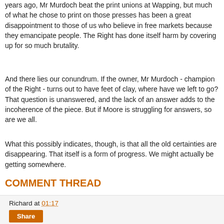years ago, Mr Murdoch beat the print unions at Wapping, but much of what he chose to print on those presses has been a great disappointment to those of us who believe in free markets because they emancipate people. The Right has done itself harm by covering up for so much brutality.
And there lies our conundrum. If the owner, Mr Murdoch - champion of the Right - turns out to have feet of clay, where have we left to go? That question is unanswered, and the lack of an answer adds to the incoherence of the piece. But if Moore is struggling for answers, so are we all.
What this possibly indicates, though, is that all the old certainties are disappearing. That itself is a form of progress. We might actually be getting somewhere.
COMMENT THREAD
Richard at 01:17
Share